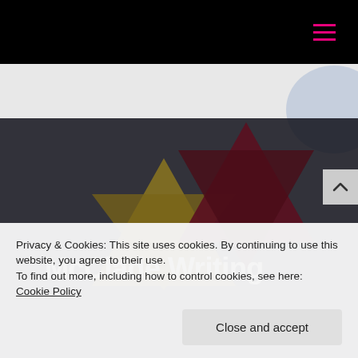Navigation bar with hamburger menu icon (magenta/pink lines)
[Figure (illustration): Website hero section showing Star of David geometric shapes: one gold/yellow star on the left, one dark red/maroon star on the right, set against a dark overlay background with a light blue circle partially visible in the top right. Text 'McClade Writing' partially visible at the bottom of the hero image.]
Privacy & Cookies: This site uses cookies. By continuing to use this website, you agree to their use.
To find out more, including how to control cookies, see here:
Cookie Policy
Close and accept